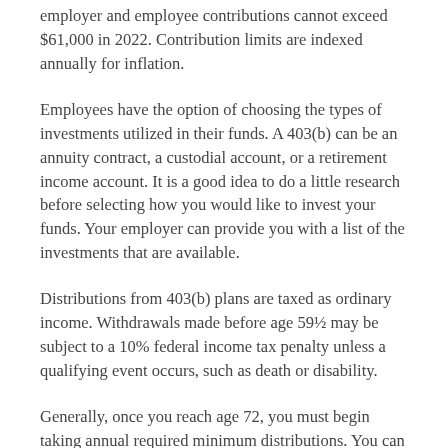employer and employee contributions cannot exceed $61,000 in 2022. Contribution limits are indexed annually for inflation.
Employees have the option of choosing the types of investments utilized in their funds. A 403(b) can be an annuity contract, a custodial account, or a retirement income account. It is a good idea to do a little research before selecting how you would like to invest your funds. Your employer can provide you with a list of the investments that are available.
Distributions from 403(b) plans are taxed as ordinary income. Withdrawals made before age 59½ may be subject to a 10% federal income tax penalty unless a qualifying event occurs, such as death or disability.
Generally, once you reach age 72, you must begin taking annual required minimum distributions. You can receive regular periodic distributions on a schedule that is calculated based on your life